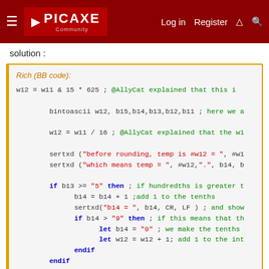PICAXE Community — Log in  Register
solution :
[Figure (screenshot): Code block labeled 'Rich (BB code):' containing PICAXE BASIC code with syntax highlighting: w12 = w11 & 15 * 625 ; @AllyCat explained that this i
        bintoascii w12, b15,b14,b13,b12,b11 ; here we a
        w12 = w11 / 16 ; @AllyCat explained that the w1
        sertxd ("before rounding, temp is #w12 = ", #w1
        sertxd ("which means temp = ", #w12,".", b14, b
        if b13 >= "5" then ; if hundredths is greater t
          b14 = b14 + 1 ;add 1 to the tenths
          sertxd("b14 = ", b14, CR, LF ) ; and show
          if b14 > "9" then ; if this means that th
            let b14 = "0" ; we make the tenths
            let w12 = w12 + 1; add 1 to the int
          endif
        endif]